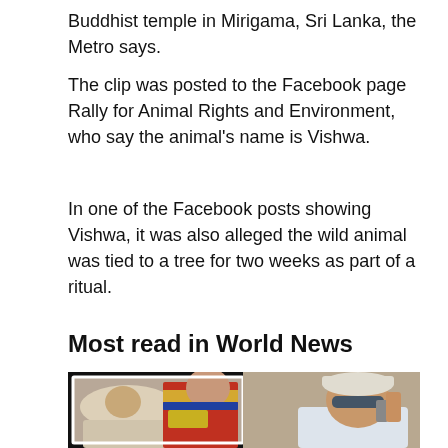Buddhist temple in Mirigama, Sri Lanka, the Metro says.
The clip was posted to the Facebook page Rally for Animal Rights and Environment, who say the animal's name is Vishwa.
In one of the Facebook posts showing Vishwa, it was also alleged the wild animal was tied to a tree for two weeks as part of a ritual.
Most read in World News
[Figure (photo): Two-panel photo: left panel shows Queen Elizabeth and Prince Andrew in military uniform; right panel shows a man in white shirt and cap talking on phone.]